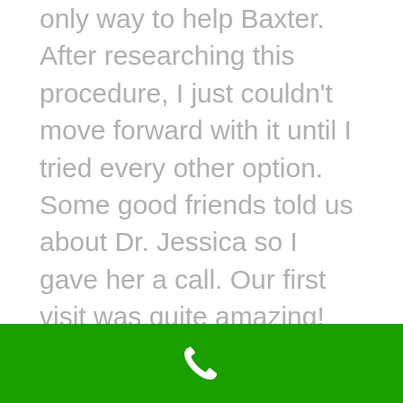only way to help Baxter. After researching this procedure, I just couldn't move forward with it until I tried every other option. Some good friends told us about Dr. Jessica so I gave her a call. Our first visit was quite amazing! We noticed some immediate changes with Baxter but also knew it would take a few adjustments before we'd know if this was going to be our answer for him. I am happy to say that he is doing much better and we are so thankful! While we still have to make sure our little guy doesn't do much jumping or cat chasing, we believe he will be able to enjoy the rest of his
[Figure (other): Green footer bar with a white phone icon (handset) centered on it]